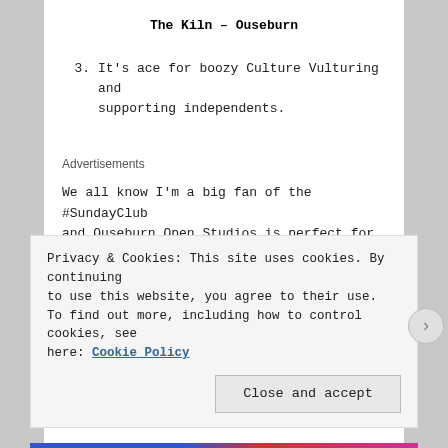The Kiln – Ouseburn
3.  It's ace for boozy Culture Vulturing and supporting independents.
Advertisements
We all know I'm a big fan of the #SundayClub and Ouseburn Open Studios is perfect for this. I love going with a friend, planning a lush lunch somewhere (often Ernest) plotting our
Privacy & Cookies: This site uses cookies. By continuing to use this website, you agree to their use. To find out more, including how to control cookies, see here: Cookie Policy
Close and accept